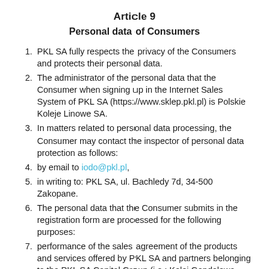Article 9
Personal data of Consumers
PKL SA fully respects the privacy of the Consumers and protects their personal data.
The administrator of the personal data that the Consumer when signing up in the Internet Sales System of PKL SA (https://www.sklep.pkl.pl) is Polskie Koleje Linowe SA.
In matters related to personal data processing, the Consumer may contact the inspector of personal data protection as follows:
by email to iodo@pkl.pl,
in writing to: PKL SA, ul. Bachledy 7d, 34-500 Zakopane.
The personal data that the Consumer submits in the registration form are processed for the following purposes:
performance of the sales agreement of the products and services offered by PKL SA and partners belonging to the PKL SA Capital Group (i.e.: Kolej Gondolowa Jaworzyna Krynicka SA, PKL FOOD Sp. z o.o., PKL FOOD Sp. z o.o. sp. k.